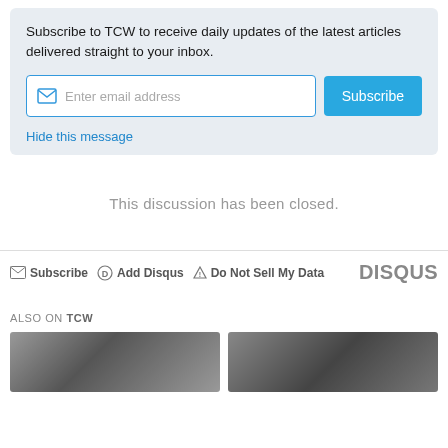Subscribe to TCW to receive daily updates of the latest articles delivered straight to your inbox.
[Figure (other): Email subscription form with input field and Subscribe button]
Hide this message
This discussion has been closed.
Subscribe  Add Disqus  Do Not Sell My Data  DISQUS
ALSO ON TCW
[Figure (photo): Two thumbnail images side by side in grayscale]